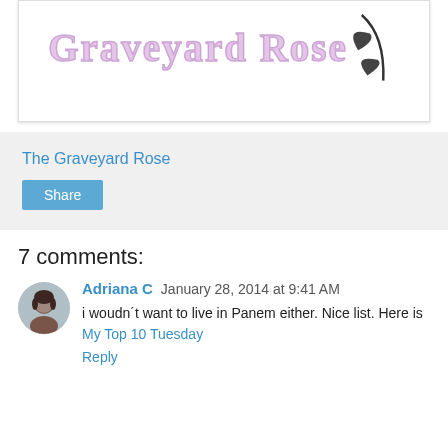[Figure (illustration): Blog header image showing 'Graveyard Rose' text in purple/pink stylized font with a decorative black rose/leaf illustration on the right side, on a white background with a light border.]
The Graveyard Rose
Share
7 comments:
[Figure (photo): Small circular avatar photo of a dark-haired woman.]
Adriana C   January 28, 2014 at 9:41 AM
i woudn´t want to live in Panem either. Nice list. Here is My Top 10 Tuesday
Reply